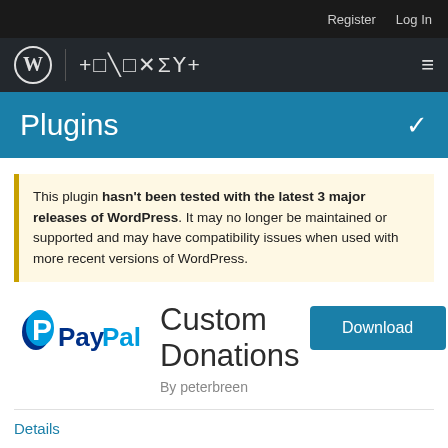Register  Log In
ᛏᛟᚱᛖᚾᚾᚢᛏ
Plugins
This plugin hasn't been tested with the latest 3 major releases of WordPress. It may no longer be maintained or supported and may have compatibility issues when used with more recent versions of WordPress.
[Figure (logo): PayPal logo with blue P icon and PayPal wordmark]
Custom Donations
By peterbreen
Download
Details